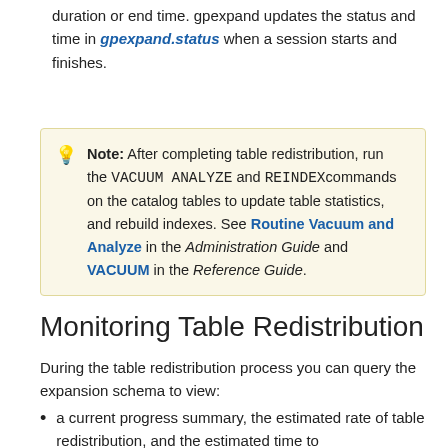duration or end time. gpexpand updates the status and time in gpexpand.status when a session starts and finishes.
Note: After completing table redistribution, run the VACUUM ANALYZE and REINDEX commands on the catalog tables to update table statistics, and rebuild indexes. See Routine Vacuum and Analyze in the Administration Guide and VACUUM in the Reference Guide.
Monitoring Table Redistribution
During the table redistribution process you can query the expansion schema to view:
a current progress summary, the estimated rate of table redistribution, and the estimated time to